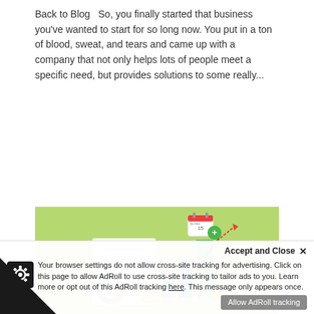Back to Blog   So, you finally started that business you've wanted to start for so long now. You put in a ton of blood, sweat, and tears and came up with a company that not only helps lots of people meet a specific need, but provides solutions to some really...
[Figure (illustration): Business/marketing illustration on a green background showing a bar chart with rising bars (pink, blue, dark blue, green), a line chart with yellow and red data points, a document with grey lines, a blue and red donut chart, gold coins, a calendar icon, and a green circle with a plus sign.]
Increase Conversions by Making It Easy for Customers to Connect
Accept and Close ✕
Your browser settings do not allow cross-site tracking for advertising. Click on this page to allow AdRoll to use cross-site tracking to tailor ads to you. Learn more or opt out of this AdRoll tracking here. This message only appears once.